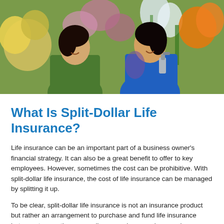[Figure (photo): Two women smiling and talking in a flower shop surrounded by colorful flowers. One woman holds a spray bottle.]
What Is Split-Dollar Life Insurance?
Life insurance can be an important part of a business owner’s financial strategy. It can also be a great benefit to offer to key employees. However, sometimes the cost can be prohibitive. With split-dollar life insurance, the cost of life insurance can be managed by splitting it up.
To be clear, split-dollar life insurance is not an insurance product but rather an arrangement to purchase and fund life insurance between two parties, generally an employee and an employer.